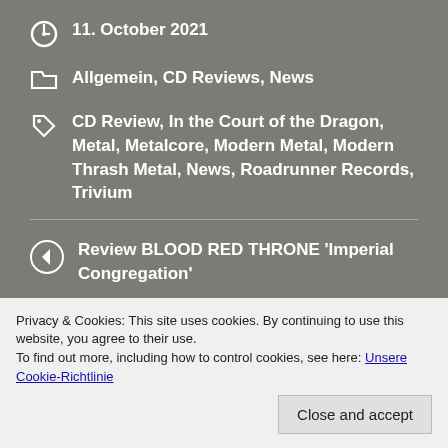11. October 2021
Allgemein, CD Reviews, News
CD Review, In the Court of the Dragon, Metal, Metalcore, Modern Metal, Modern Thrash Metal, News, Roadrunner Records, Trivium
Review BLOOD RED THRONE 'Imperial Congregation'
Review ECLIPSE 'Wired'
COMMENTS ARE CLOSED.
Privacy & Cookies: This site uses cookies. By continuing to use this website, you agree to their use. To find out more, including how to control cookies, see here: Unsere Cookie-Richtlinie
Close and accept